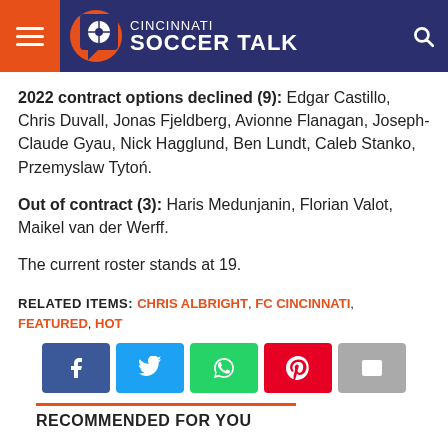Cincinnati Soccer Talk
2022 contract options declined (9): Edgar Castillo, Chris Duvall, Jonas Fjeldberg, Avionne Flanagan, Joseph-Claude Gyau, Nick Hagglund, Ben Lundt, Caleb Stanko, Przemyslaw Tytoń.
Out of contract (3): Haris Medunjanin, Florian Valot, Maikel van der Werff.
The current roster stands at 19.
RELATED ITEMS: CHRIS ALBRIGHT, FC CINCINNATI, FEATURED, HOT
[Figure (other): Social share buttons: Facebook, Twitter, WhatsApp, Pinterest, Email]
RECOMMENDED FOR YOU